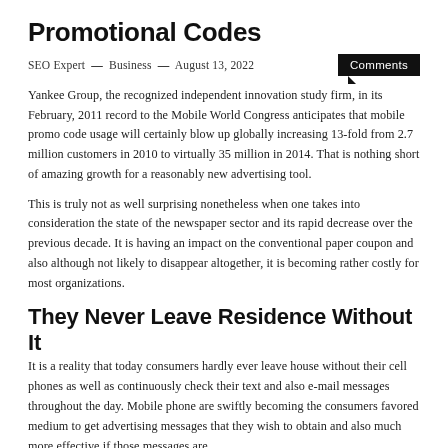Promotional Codes
SEO Expert — Business — August 13, 2022
Yankee Group, the recognized independent innovation study firm, in its February, 2011 record to the Mobile World Congress anticipates that mobile promo code usage will certainly blow up globally increasing 13-fold from 2.7 million customers in 2010 to virtually 35 million in 2014. That is nothing short of amazing growth for a reasonably new advertising tool.
This is truly not as well surprising nonetheless when one takes into consideration the state of the newspaper sector and its rapid decrease over the previous decade. It is having an impact on the conventional paper coupon and also although not likely to disappear altogether, it is becoming rather costly for most organizations.
They Never Leave Residence Without It
It is a reality that today consumers hardly ever leave house without their cell phones as well as continuously check their text and also e-mail messages throughout the day. Mobile phone are swiftly becoming the consumers favored medium to get advertising messages that they wish to obtain and also much more effective if those messages are